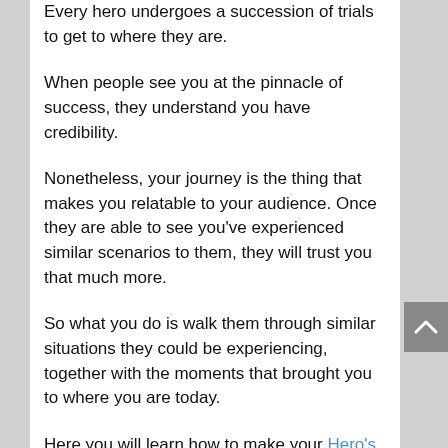Every hero undergoes a succession of trials to get to where they are.
When people see you at the pinnacle of success, they understand you have credibility.
Nonetheless, your journey is the thing that makes you relatable to your audience. Once they are able to see you've experienced similar scenarios to them, they will trust you that much more.
So what you do is walk them through similar situations they could be experiencing, together with the moments that brought you to where you are today.
Here you will learn how to make your Hero's Journey a part of your overall narrative. By making it the story you are understood by, people will